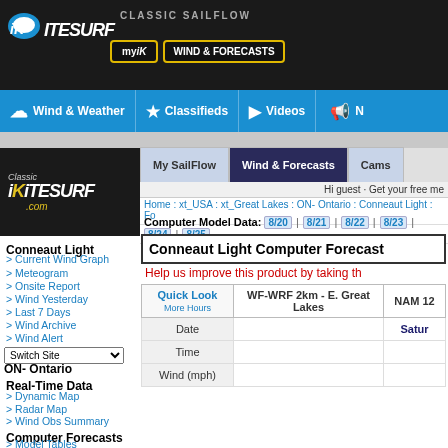iKITESURF - CLASSIC SAILFLOW - myIK | WIND & FORECASTS
Wind & Weather | Classifieds | Videos | N
[Figure (logo): Classic iKitesurf.com logo on black background]
My SailFlow | Wind & Forecasts | Cams
Hi guest · Get your free me
Home : xt_USA : xt_Great Lakes : ON- Ontario : Conneaut Light : Fo
Computer Model Data: 8/20 | 8/21 | 8/22 | 8/23 | 8/24 | 8/25
Conneaut Light Computer Forecast
Help us improve this product by taking th
Conneaut Light
Current Wind Graph
Meteogram
Onsite Report
Wind Yesterday
Last 7 Days
Wind Archive
Wind Alert
ON- Ontario
Real-Time Data
Dynamic Map
Radar Map
Wind Obs Summary
Computer Forecasts
Model Tables
Wind Forecast Map
Radar Map
| Quick Look
More Hours | WF-WRF 2km - E. Great Lakes | NAM 12 |
| --- | --- | --- |
| Date |  | Satur |
| Time |  |  |
| Wind (mph) |  |  |